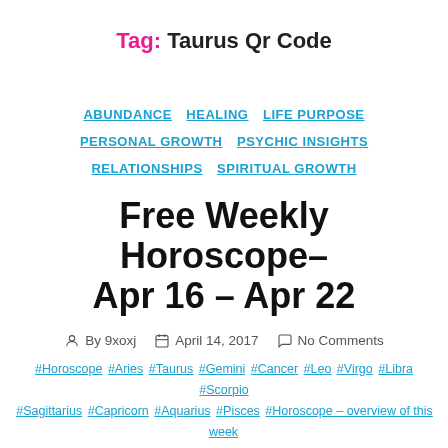Tag: Taurus Qr Code
ABUNDANCE  HEALING  LIFE PURPOSE  PERSONAL GROWTH  PSYCHIC INSIGHTS  RELATIONSHIPS  SPIRITUAL GROWTH
Free Weekly Horoscope- Apr 16 – Apr 22
By 9xoxj  April 14, 2017  No Comments
#Horoscope #Aries #Taurus #Gemini #Cancer #Leo #Virgo #Libra #Scorpio #Sagittarius #Capricorn #Aquarius #Pisces #Horoscope – overview of this week